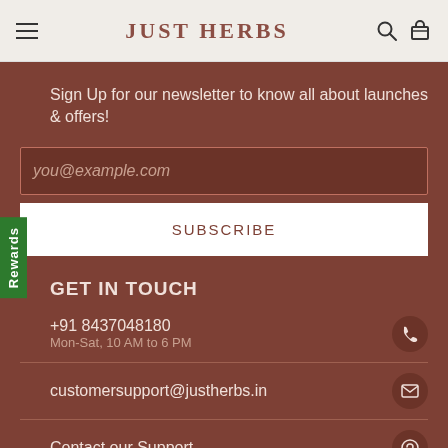JUST HERBS
Sign Up for our newsletter to know all about launches & offers!
you@example.com
SUBSCRIBE
GET IN TOUCH
+91 8437048180
Mon-Sat, 10 AM to 6 PM
customersupport@justherbs.in
Contact our Support